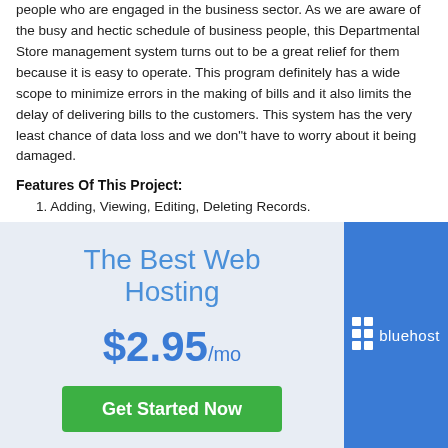people who are engaged in the business sector. As we are aware of the busy and hectic schedule of business people, this Departmental Store management system turns out to be a great relief for them because it is easy to operate. This program definitely has a wide scope to minimize errors in the making of bills and it also limits the delay of delivering bills to the customers. This system has the very least chance of data loss and we don"t have to worry about it being damaged.
Features Of This Project:
1. Adding, Viewing, Editing, Deleting Records.
[Figure (infographic): Bluehost web hosting advertisement banner. Left side has light blue-gray background with text 'The Best Web Hosting', price '$2.95/mo', and a green 'Get Started Now' button. Right side has blue background with Bluehost logo (grid icon and 'bluehost' text in white).]